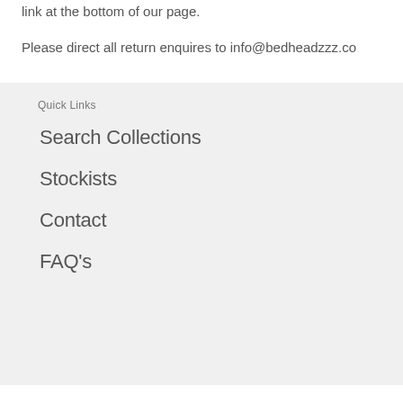link at the bottom of our page.
Please direct all return enquires to info@bedheadzzz.co
Quick Links
Search Collections
Stockists
Contact
FAQ's